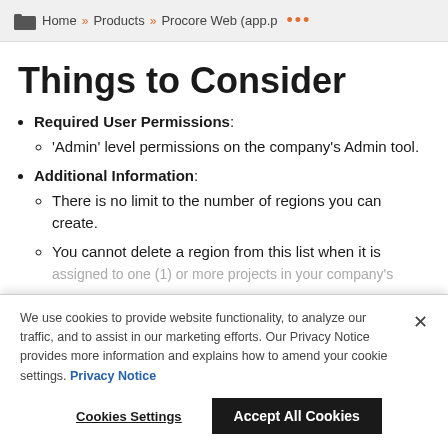Home » Products » Procore Web (app.p …
Things to Consider
Required User Permissions:
'Admin' level permissions on the company's Admin tool.
Additional Information:
There is no limit to the number of regions you can create.
You cannot delete a region from this list when it is assigned to one (1) or more projects in your company's
We use cookies to provide website functionality, to analyze our traffic, and to assist in our marketing efforts. Our Privacy Notice provides more information and explains how to amend your cookie settings. Privacy Notice
Cookies Settings  Accept All Cookies